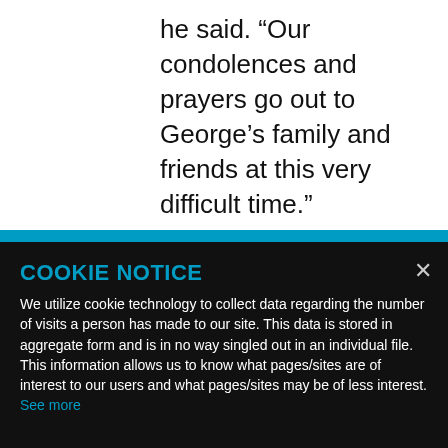he said. “Our condolences and prayers go out to George’s family and friends at this very difficult time.”
COOKIE NOTICE
We utilize cookie technology to collect data regarding the number of visits a person has made to our site. This data is stored in aggregate form and is in no way singled out in an individual file. This information allows us to know what pages/sites are of interest to our users and what pages/sites may be of less interest. See more